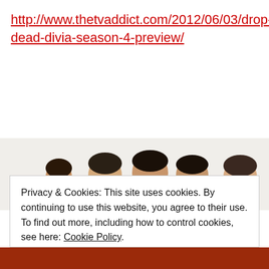http://www.thetvaddict.com/2012/06/03/drop-dead-divia-season-4-preview/
[Figure (photo): Partial view of people's heads peeking over a white surface, cropped at the top of a promotional image]
Privacy & Cookies: This site uses cookies. By continuing to use this website, you agree to their use. To find out more, including how to control cookies, see here: Cookie Policy.
Close and accept